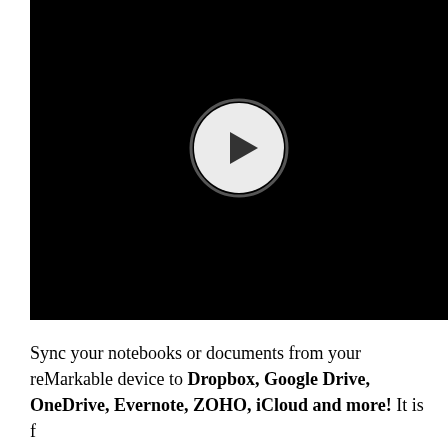[Figure (screenshot): A black video player thumbnail with a circular play button (white circle with dark border and a right-pointing triangle/play icon) centered in the frame.]
Sync your notebooks or documents from your reMarkable device to Dropbox, Google Drive, OneDrive, Evernote, ZOHO, iCloud and more! It is f...